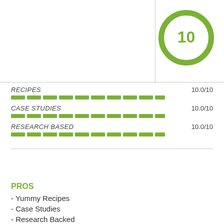[Figure (other): Score circle with number 10 in green outlined ring]
RECIPES 10.0/10
CASE STUDIES 10.0/10
RESEARCH BASED 10.0/10
PROS
- Yummy Recipes
- Case Studies
- Research Backed
CONS